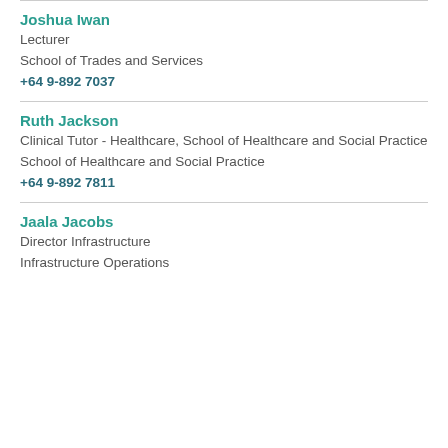Joshua Iwan
Lecturer
School of Trades and Services
+64 9-892 7037
Ruth Jackson
Clinical Tutor - Healthcare, School of Healthcare and Social Practice
School of Healthcare and Social Practice
+64 9-892 7811
Jaala Jacobs
Director Infrastructure
Infrastructure Operations